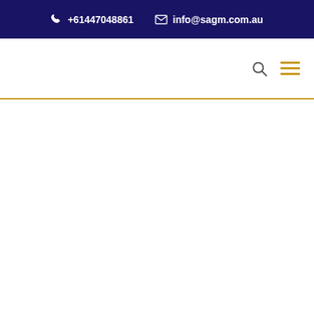📞 +61447048861   ✉ info@sagm.com.au
[Figure (other): Navigation bar with search icon and hamburger menu icon (three gold horizontal lines)]